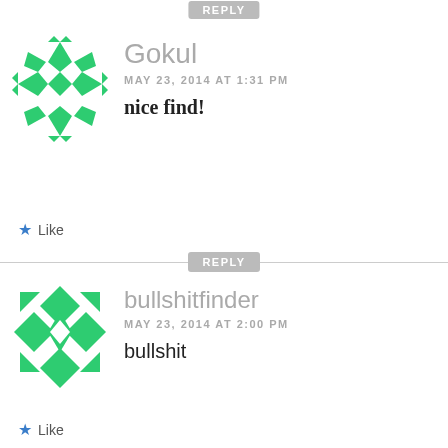[Figure (other): Green geometric snowflake/avatar icon for user Gokul]
Gokul
MAY 23, 2014 AT 1:31 PM

nice find!
★ Like
REPLY
[Figure (other): Green geometric diamond-pattern avatar icon for user bullshitfinder]
bullshitfinder
MAY 23, 2014 AT 2:00 PM

bullshit
★ Like